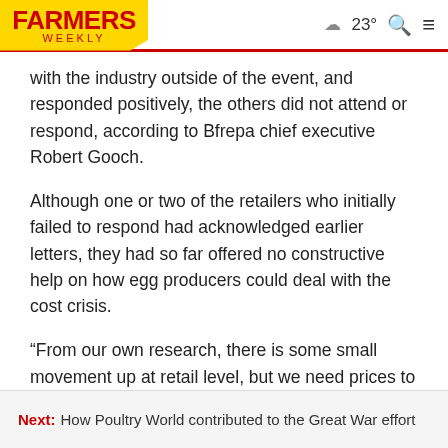FARMERS WEEKLY  23°
with the industry outside of the event, and responded positively, the others did not attend or respond, according to Bfrepa chief executive Robert Gooch.
Although one or two of the retailers who initially failed to respond had acknowledged earlier letters, they had so far offered no constructive help on how egg producers could deal with the cost crisis.
“From our own research, there is some small movement up at retail level, but we need prices to increase by 40p/doz for free-range and 80p/doz for
Next: How Poultry World contributed to the Great War effort